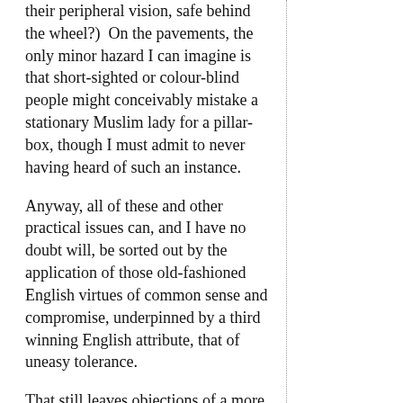their peripheral vision, safe behind the wheel?)  On the pavements, the only minor hazard I can imagine is that short-sighted or colour-blind people might conceivably mistake a stationary Muslim lady for a pillar-box, though I must admit to never having heard of such an instance.
Anyway, all of these and other practical issues can, and I have no doubt will, be sorted out by the application of those old-fashioned English virtues of common sense and compromise, underpinned by a third winning English attribute, that of uneasy tolerance.
That still leaves objections of a more theological nature, and here is where the ice is sufficiently thin that only the foolhardy deign to skate on it.
If Muslim women elect to drape themselves head to foot in black – which, I understand, they are not required to by...